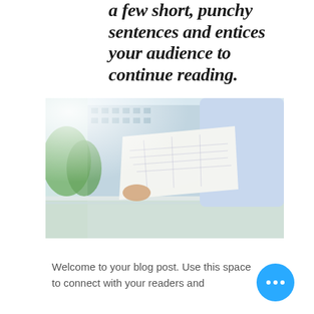a few short, punchy sentences and entices your audience to continue reading.
[Figure (photo): Person in a light blue shirt holding architectural blueprint plans outdoors on a balcony with a city and green trees in the background]
Welcome to your blog post. Use this space to connect with your readers and